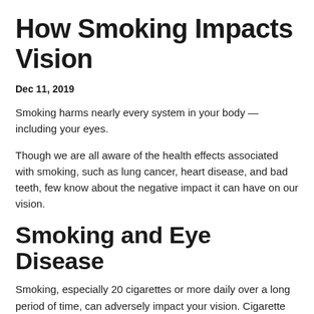How Smoking Impacts Vision
Dec 11, 2019
Smoking harms nearly every system in your body — including your eyes.
Though we are all aware of the health effects associated with smoking, such as lung cancer, heart disease, and bad teeth, few know about the negative impact it can have on our vision.
Smoking and Eye Disease
Smoking, especially 20 cigarettes or more daily over a long period of time, can adversely impact your vision. Cigarette smoke is made up of compounds that can damage health and have been shown to cause cerebral lesions which affect the area of the brain that processes vision.